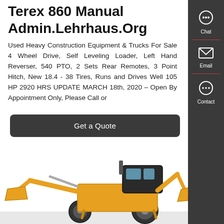Terex 860 Manual Admin.Lehrhaus.Org
Used Heavy Construction Equipment & Trucks For Sale 4 Wheel Drive, Self Leveling Loader, Left Hand Reverser, 540 PTO, 2 Sets Rear Remotes, 3 Point Hitch, New 18.4 - 38 Tires, Runs and Drives Well 105 HP 2920 HRS UPDATE MARCH 18th, 2020 – Open By Appointment Only, Please Call or
Get a Quote
[Figure (photo): Yellow and black construction backhoe loader machinery photographed from the side, partially visible at bottom of page]